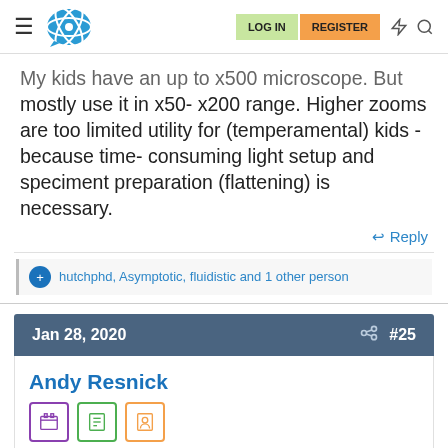LOG IN | REGISTER
My kids have an up to x500 microscope. But mostly use it in x50- x200 range. Higher zooms are too limited utility for (temperamental) kids - because time-consuming light setup and speciment preparation (flattening) is necessary.
Reply
hutchphd, Asymptotic, fluidistic and 1 other person
Jan 28, 2020  #25
Andy Resnick